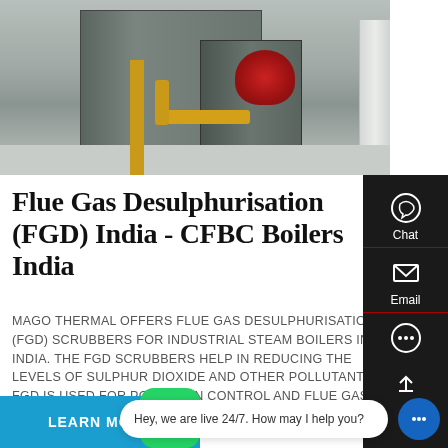[Figure (photo): Industrial boiler/furnace equipment with yellow pipes and red burner component in a factory setting]
Flue Gas Desulphurisation (FGD) India - CFBC Boilers India
MAGO THERMAL OFFERS FLUE GAS DESULPHURISATION (FGD) SCRUBBERS FOR INDUSTRIAL STEAM BOILERS IN INDIA. THE FGD SCRUBBERS HELP IN REDUCING THE LEVELS OF SULPHUR DIOXIDE AND OTHER POLLUTANTS. FGD IS USED FOR POLLUTION CONTROL AND FLUE GAS TREATMENT. WE ARE FGD SUPPLIERS IN INDIA. CALL AT +91-9910490700
LEARN MORE
Chat
Email
Contact us now!
Hey, we are live 24/7. How may I help you?